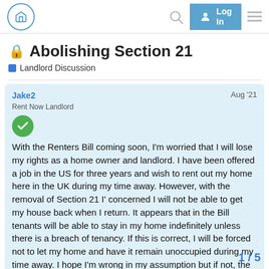Nav bar with home button, Log In button, search icon, hamburger menu
🔒 Abolishing Section 21
Landlord Discussion
Jake2
Rent Now Landlord
Aug '21
With the Renters Bill coming soon, I'm worried that I will lose my rights as a home owner and landlord. I have been offered a job in the US for three years and wish to rent out my home here in the UK during my time away. However, with the removal of Section 21 I' concerned I will not be able to get my house back when I return. It appears that in the Bill tenants will be able to stay in my home indefinitely unless there is a breach of tenancy. If this is correct, I will be forced not to let my home and have it remain unoccupied during my time away. I hope I'm wrong in my assumption but if not, the Bill is total madn
1 / 5